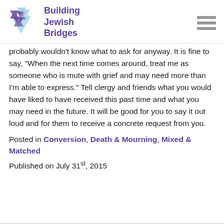[Figure (logo): Building Jewish Bridges logo with Star of David in purple/blue tones and hamburger menu icon]
probably wouldn't know what to ask for anyway. It is fine to say, "When the next time comes around, treat me as someone who is mute with grief and may need more than I'm able to express." Tell clergy and friends what you would have liked to have received this past time and what you may need in the future. It will be good for you to say it out loud and for them to receive a concrete request from you.
Posted in Conversion, Death & Mourning, Mixed & Matched
Published on July 31st, 2015